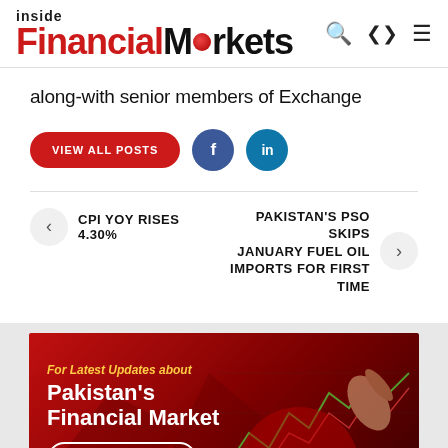inside Financial Markets
along-with senior members of Exchange
VIEW ALL POSTS
CPI YoY RISES 4.30%
PAKISTAN'S PSO SKIPS JANUARY FUEL OIL IMPORTS FOR FIRST TIME
[Figure (infographic): Red advertisement banner for Inside Financial Markets with text: For Latest Updates about Pakistan's Financial Market. Subscribe button with bell icon. Background shows stock market chart with a hand pointing at it.]